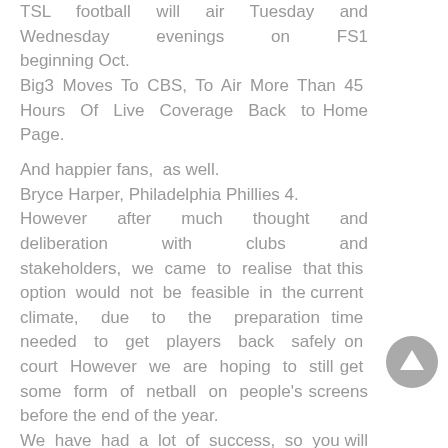TSL football will air Tuesday and Wednesday evenings on FS1 beginning Oct. Big3 Moves To CBS, To Air More Than 45 Hours Of Live Coverage Back to Home Page.
And happier fans, as well. Bryce Harper, Philadelphia Phillies 4. However after much thought and deliberation with clubs and stakeholders, we came to realise that this option would not be feasible in the current climate, due to the preparation time needed to get players back safely on court However we are hoping to still get some form of netball on people's screens before the end of the year. We have had a lot of success, so you will continue to see us in that space.